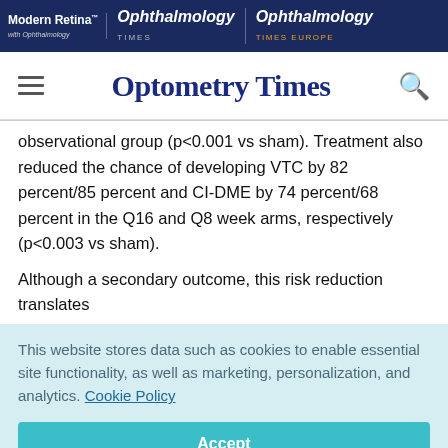Modern Retina | Ophthalmology | Ophthalmology Times Europe
Optometry Times
observational group (p<0.001 vs sham). Treatment also reduced the chance of developing VTC by 82 percent/85 percent and CI-DME by 74 percent/68 percent in the Q16 and Q8 week arms, respectively (p<0.003 vs sham).
Although a secondary outcome, this risk reduction translates
This website stores data such as cookies to enable essential site functionality, as well as marketing, personalization, and analytics. Cookie Policy
Accept
Deny